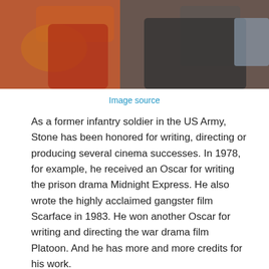[Figure (photo): Photo of two people seated together, one wearing a red outfit, the other in dark clothing, with orange cushions visible.]
Image source
As a former infantry soldier in the US Army, Stone has been honored for writing, directing or producing several cinema successes. In 1978, for example, he received an Oscar for writing the prison drama Midnight Express. He also wrote the highly acclaimed gangster film Scarface in 1983. He won another Oscar for writing and directing the war drama film Platoon. And he has more and more credits for his work.
What Is Sun-Jung Jung’s Occupation?